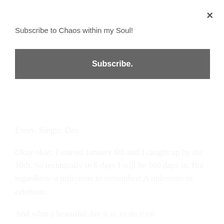Subscribe to Chaos within my Soul!
Subscribe.
Every. Single. Day.
Okay okay. I started January 6th and I caught up by the 10th. So technically in 6 days I will be 100 days in. But regardless- a milestone to remember! A milestone to celebrate.
And what a beautiful day it is, to do it on.
Holy Thursday!